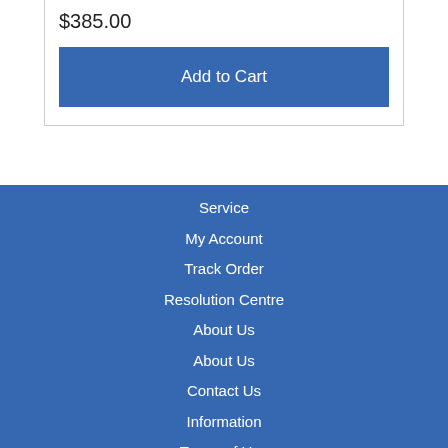$385.00
Add to Cart
Service
My Account
Track Order
Resolution Centre
About Us
About Us
Contact Us
Information
Terms of Use